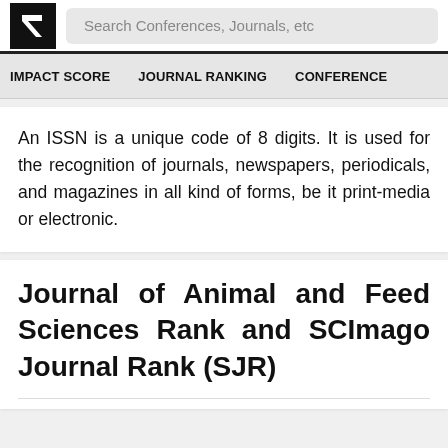[Figure (logo): Research rankings logo with 'R' arrow icon in black square]
Search Conferences, Journals, etc
IMPACT SCORE   JOURNAL RANKING   CONFERENCE
An ISSN is a unique code of 8 digits. It is used for the recognition of journals, newspapers, periodicals, and magazines in all kind of forms, be it print-media or electronic.
Journal of Animal and Feed Sciences Rank and SCImago Journal Rank (SJR)